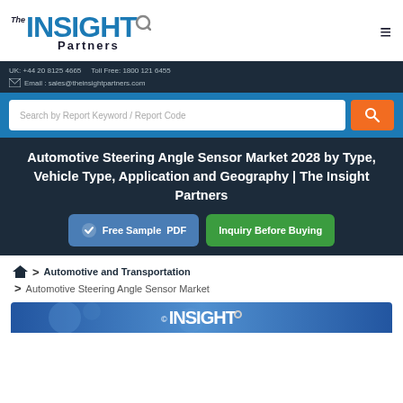[Figure (logo): The Insight Partners logo with circular magnifier on the letter I]
UK: +44 20 8125 4665   Toll Free: 1800 121 6455
Email: sales@theinsightpartners.com
Search by Report Keyword / Report Code
Automotive Steering Angle Sensor Market 2028 by Type, Vehicle Type, Application and Geography | The Insight Partners
Free Sample PDF   Inquiry Before Buying
Home > Automotive and Transportation > Automotive Steering Angle Sensor Market
[Figure (screenshot): Bottom preview strip showing The Insight Partners logo on blue background]